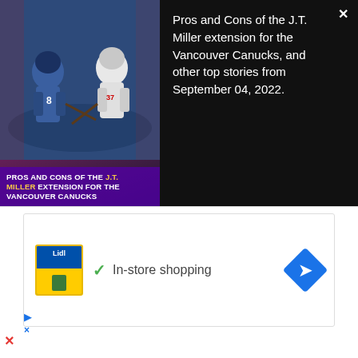[Figure (screenshot): Hockey article card with dark background. Left side shows hockey players image with purple overlay text 'PROS AND CONS OF THE J.T. MILLER EXTENSION FOR THE VANCOUVER CANUCKS'. Right side shows white text on black: 'Pros and Cons of the J.T. Miller extension for the Vancouver Canucks, and other top stories from September 04, 2022.' with an X close button.]
ADVERTISEMENT - CONTINUE READING BELOW
[Figure (screenshot): Lidl advertisement banner showing Lidl logo, a green checkmark with 'In-store shopping' text, and a blue diamond navigation/directions arrow icon. Below are AdChoices icons and a red X button at bottom left.]